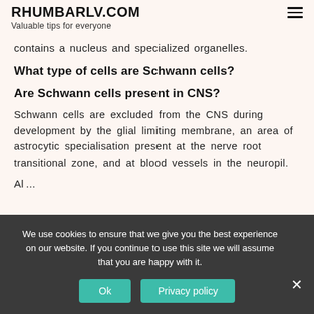RHUMBARLV.COM
Valuable tips for everyone
contains a nucleus and specialized organelles.
What type of cells are Schwann cells?
Are Schwann cells present in CNS?
Schwann cells are excluded from the CNS during development by the glial limiting membrane, an area of astrocytic specialisation present at the nerve root transitional zone, and at blood vessels in the neuropil.
We use cookies to ensure that we give you the best experience on our website. If you continue to use this site we will assume that you are happy with it.